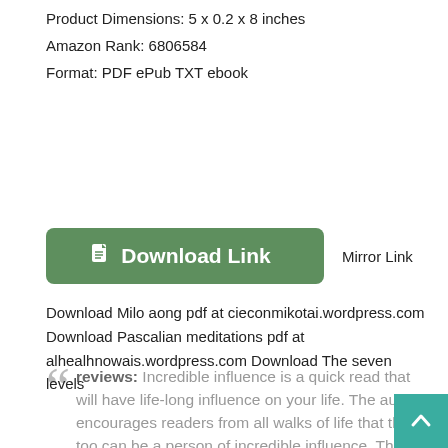Product Dimensions: 5 x 0.2 x 8 inches
Amazon Rank: 6806584
Format: PDF ePub TXT ebook
[Figure (other): Green download button labeled 'Download Link' with document icon, and a 'Mirror Link' text link beside it]
reviews: Incredible influence is a quick read that will have life-long influence on your life. The author encourages readers from all walks of life that they too can be a person of incredible influence. The author inspires readers on a personal level as he co…
Download Milo aong pdf at cieconmikotai.wordpress.com Download Pascalian meditations pdf at alhealhnowais.wordpress.com Download The seven levels